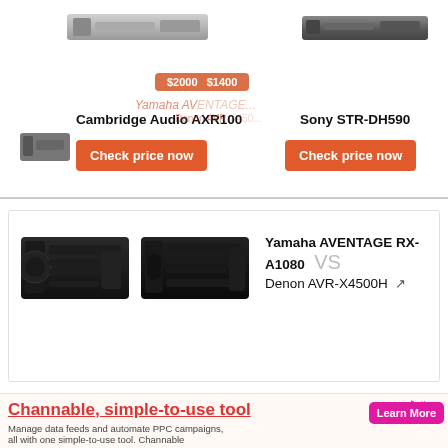[Figure (photo): Cambridge Audio AXR100 receiver - silver colored device image]
Cambridge Audio AXR100
Check price now
$2000  $1400
[Figure (photo): Sony STR-DH590 receiver - dark gray colored device image]
Sony STR-DH590
Check price now
Yamaha AV... VS Denon AVR...
[Figure (photo): Yamaha AVENTAGE RX-A1080 black AV receiver]
[Figure (photo): Denon AVR-X4500H black AV receiver]
Yamaha AVENTAGE RX-A1080 VS Denon AVR-X4500H
Popular receiver comparisons
$3000  $2300
Channable, simple-to-use tool
Manage data feeds and automate PPC campaigns, all with one simple-to-use tool. Channable
Learn More